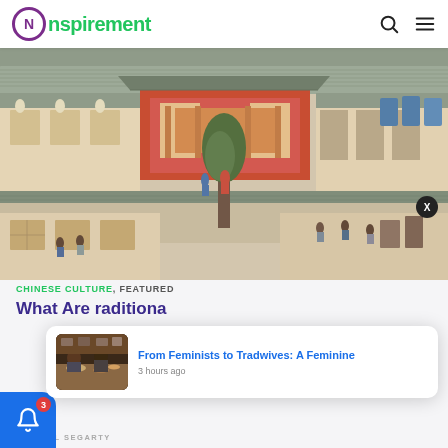Nspirement
[Figure (illustration): Traditional Chinese painting showing a bustling courtyard scene with figures in traditional dress, rooftops, trees, and architecture in an isometric bird's-eye view style.]
CHINESE CULTURE, FEATURED
What Are Traditional...
MICHAEL SEGARTY
[Figure (photo): Small thumbnail photo of people sitting at a table eating a meal, used in a notification popup.]
From Feminists to Tradwives: A Feminine
3 hours ago